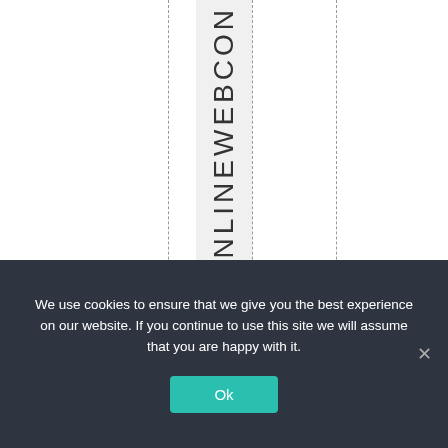[Figure (other): A vertical text column displaying 'ETHEIRONLINEWEBCON' in large uppercase letters rotated 90 degrees, with dashed vertical guide lines on a white background]
We use cookies to ensure that we give you the best experience on our website. If you continue to use this site we will assume that you are happy with it.
Ok